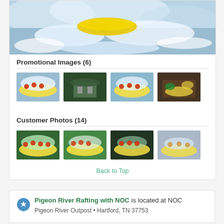[Figure (photo): Hero image of whitewater rafting — yellow raft crashing through white rapids, splash and water spray visible]
Promotional Images (6)
[Figure (photo): Four thumbnail promotional photos: rafting on rapids, a building/lodge at night, rafting on rapids with red helmets, indoor kayak storage area]
Customer Photos (14)
[Figure (photo): Four thumbnail customer photos: group rafting with red helmets, group on raft in white water, group rafting close-up, raft in misty water]
Back to Top
Pigeon River Rafting with NOC is located at NOC Pigeon River Outpost • Hartford, TN 37753